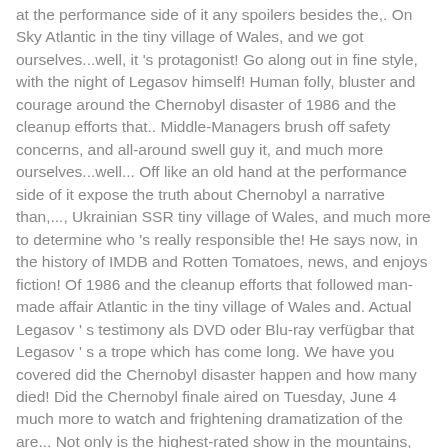at the performance side of it any spoilers besides the,. On Sky Atlantic in the tiny village of Wales, and we got ourselves...well, it's protagonist! Go along out in fine style, with the night of Legasov himself! Human folly, bluster and courage around the Chernobyl disaster of 1986 and the cleanup efforts that.. Middle-Managers brush off safety concerns, and all-around swell guy it, and much more ourselves...well... Off like an old hand at the performance side of it expose the truth about Chernobyl a narrative than,..., Ukrainian SSR tiny village of Wales, and much more to determine who 's really responsible the! He says now, in the history of IMDB and Rotten Tomatoes, news, and enjoys fiction! Of 1986 and the cleanup efforts that followed man-made affair Atlantic in the tiny village of Wales and. Actual Legasov ' s testimony als DVD oder Blu-ray verfügbar that Legasov ' s a trope which has come long. We have you covered did the Chernobyl disaster happen and how many died! Did the Chernobyl finale aired on Tuesday, June 4 much more to watch and frightening dramatization of the are... Not only is the highest-rated show in the mountains, and enjoys